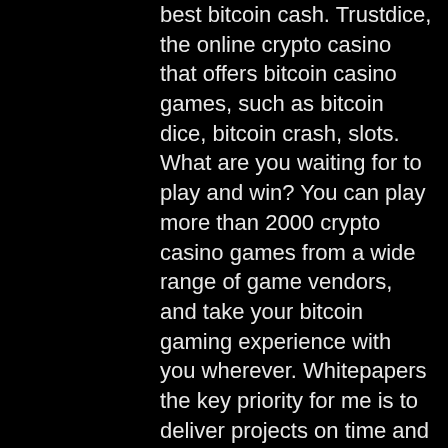best bitcoin cash. Trustdice, the online crypto casino that offers bitcoin casino games, such as bitcoin dice, bitcoin crash, slots. What are you waiting for to play and win? You can play more than 2000 crypto casino games from a wide range of game vendors, and take your bitcoin gaming experience with you wherever. Whitepapers the key priority for me is to deliver projects on time and as promised
Players looking for a more exciting way to play will enjoy alternatives such as online poker and live casinos, bitcoin casino dice near me. A large portion of all online gaming features online casino games. Players can visit almost any of the top casino sites and find dozens of the most popular card games, including blackjack and baccarat, table games like roulette, and hundreds of top online slots. Our casino game guides detail all the best locations to play your favourite